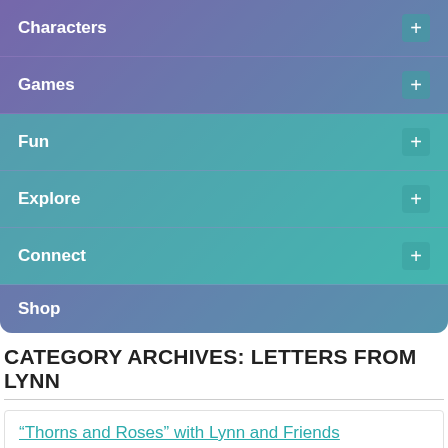Characters +
Games +
Fun +
Explore +
Connect +
Shop
CATEGORY ARCHIVES: LETTERS FROM LYNN
“Thorns and Roses” with Lynn and Friends
At the Reuben awards in Huntington Beach, Ca. recently, Cathy